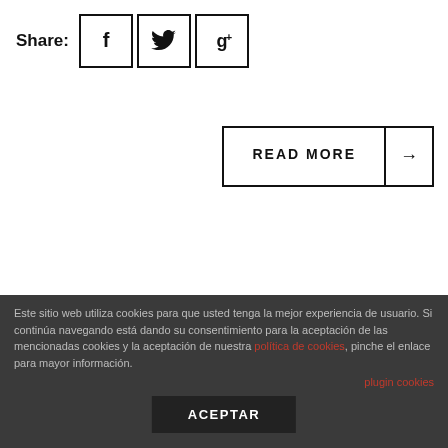Share:
[Figure (illustration): Social share icons: Facebook (f), Twitter (bird), Google+ (g+) each in a square bordered box]
READ MORE →
Este sitio web utiliza cookies para que usted tenga la mejor experiencia de usuario. Si continúa navegando está dando su consentimiento para la aceptación de las mencionadas cookies y la aceptación de nuestra política de cookies, pinche el enlace para mayor información.
plugin cookies
ACEPTAR